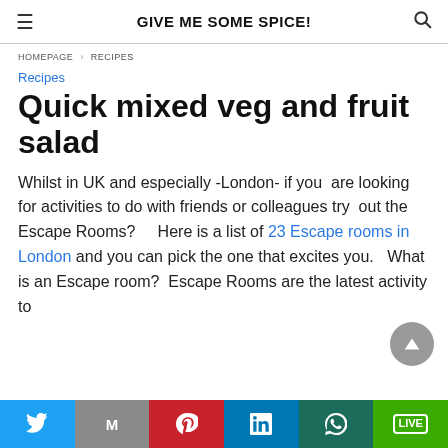GIVE ME SOME SPICE!
HOMEPAGE > RECIPES
Recipes
Quick mixed veg and fruit salad
Whilst in UK and especially -London- if you  are looking for activities to do with friends or colleagues try  out the Escape Rooms?     Here is a list of 23 Escape rooms in London and you can pick the one that excites you.   What is an Escape room?  Escape Rooms are the latest activity to